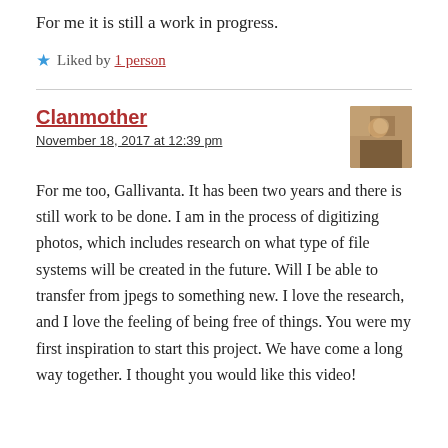For me it is still a work in progress.
Liked by 1 person
Clanmother
November 18, 2017 at 12:39 pm
For me too, Gallivanta. It has been two years and there is still work to be done. I am in the process of digitizing photos, which includes research on what type of file systems will be created in the future. Will I be able to transfer from jpegs to something new. I love the research, and I love the feeling of being free of things. You were my first inspiration to start this project. We have come a long way together. I thought you would like this video!